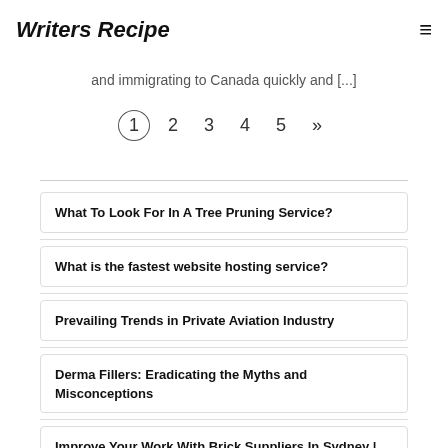Writers Recipe
and immigrating to Canada quickly and [...]
1 2 3 4 5 »
What To Look For In A Tree Pruning Service?
What is the fastest website hosting service?
Prevailing Trends in Private Aviation Industry
Derma Fillers: Eradicating the Myths and Misconceptions
Improve Your Work With Brick Suppliers In Sydney | Hire Experienced...